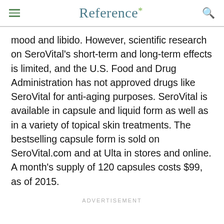Reference*
mood and libido. However, scientific research on SeroVital's short-term and long-term effects is limited, and the U.S. Food and Drug Administration has not approved drugs like SeroVital for anti-aging purposes. SeroVital is available in capsule and liquid form as well as in a variety of topical skin treatments. The bestselling capsule form is sold on SeroVital.com and at Ulta in stores and online. A month's supply of 120 capsules costs $99, as of 2015.
ADVERTISEMENT